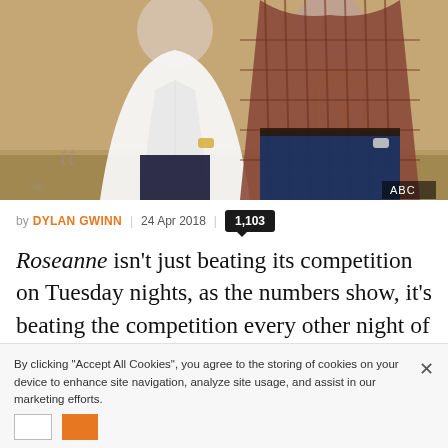[Figure (photo): A woman in a white button-up shirt and a man in a plaid shirt standing indoors, possibly a TV show promo photo. ABC watermark in bottom right corner.]
by DYLAN GWINN | 24 Apr 2018 | 1,103
Roseanne isn't just beating its competition on Tuesday nights, as the numbers show, it's beating the competition every other night of the week as well.
By clicking "Accept All Cookies", you agree to the storing of cookies on your device to enhance site navigation, analyze site usage, and assist in our marketing efforts.